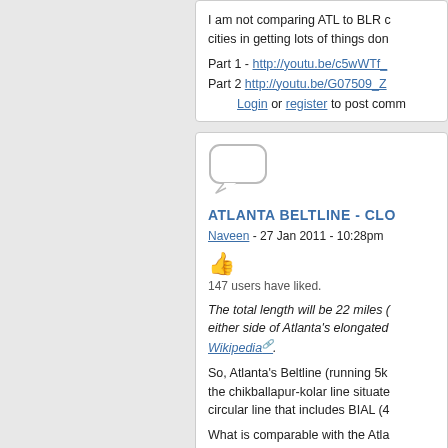I am not comparing ATL to BLR cities in getting lots of things don
Part 1 - http://youtu.be/c5wWTf_
Part 2 http://youtu.be/G07509_Z
Login or register to post comm
ATLANTA BELTLINE - CLO
Naveen - 27 Jan 2011 - 10:28pm
147 users have liked.
The total length will be 22 miles either side of Atlanta's elongated Wikipedia.
So, Atlanta's Beltline (running 5k the chikballapur-kolar line situate circular line that includes BIAL (4
What is comparable with the Atla within the city (ORR) that are like